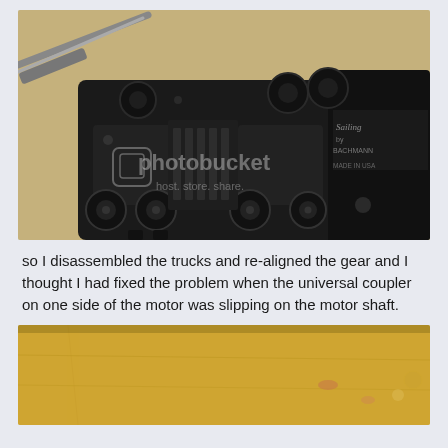[Figure (photo): Close-up photo of a disassembled model train truck/bogie mechanism with black metal gears, wheels and frame, placed on a wooden workbench surface. A screwdriver bit is visible in the upper left. The side of a model locomotive is visible with 'Sunset by Bachmann, Made in USA' text.]
so I disassembled the trucks and re-aligned the gear and I thought I had fixed the problem when the universal coupler on one side of the motor was slipping on the motor shaft.
[Figure (photo): Partial photo showing the top edge of a wooden workbench or surface with warm amber/golden tones, partially cropped at the bottom of the page.]